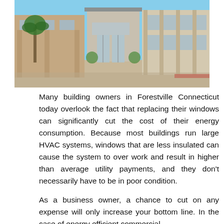[Figure (photo): Exterior photo of a modern commercial building with large glass entrance, columns, and palm trees, shot under a clear blue sky.]
Many building owners in Forestville Connecticut today overlook the fact that replacing their windows can significantly cut the cost of their energy consumption. Because most buildings run large HVAC systems, windows that are less insulated can cause the system to over work and result in higher than average utility payments, and they don't necessarily have to be in poor condition.
As a business owner, a chance to cut on any expense will only increase your bottom line. In the case of energy efficient commercial